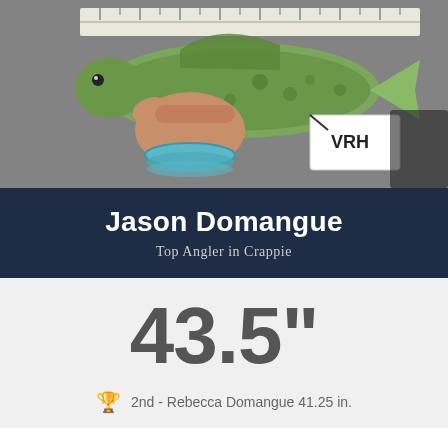[Figure (photo): A hand holding a crappie fish against a measuring ruler on a grey carpeted boat surface. A card marked 'VRH' is visible next to the fish. The person is wearing a teal/blue bracelet.]
Jason Domangue
Top Angler in Crappie
43.5"
2nd - Rebecca Domangue 41.25 in.